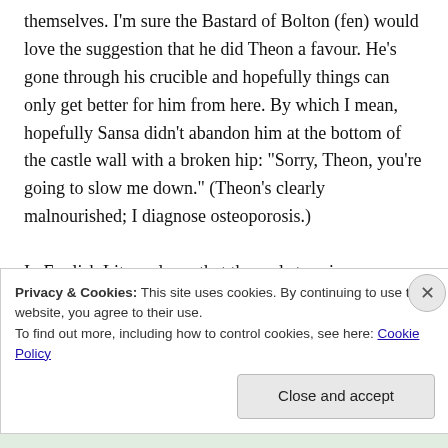themselves. I'm sure the Bastard of Bolton (fen) would love the suggestion that he did Theon a favour. He's gone through his crucible and hopefully things can only get better for him from here. By which I mean, hopefully Sansa didn't abandon him at the bottom of the castle wall with a broken hip: "Sorry, Theon, you're going to slow me down." (Theon's clearly malnourished; I diagnose osteoporosis.)

In English Lit, we learn that the real story is about the character who changes the most.
Privacy & Cookies: This site uses cookies. By continuing to use this website, you agree to their use.
To find out more, including how to control cookies, see here: Cookie Policy